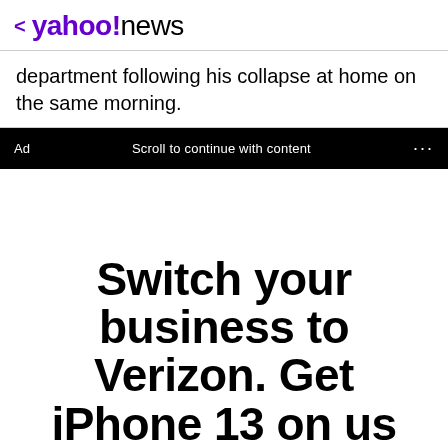< yahoo!news
department following his collapse at home on the same morning.
Ad  Scroll to continue with content  ...
[Figure (infographic): Verizon advertisement showing text: Switch your business to Verizon. Get iPhone 13 on us]
Switch your business to Verizon. Get iPhone 13 on us